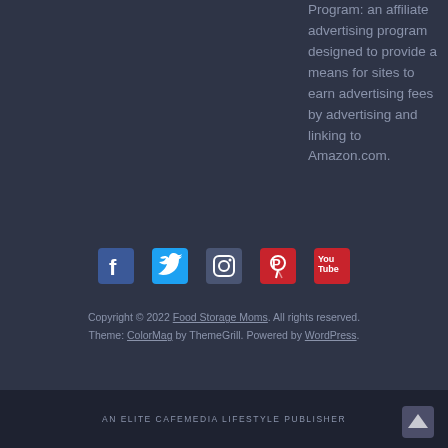Program: an affiliate advertising program designed to provide a means for sites to earn advertising fees by advertising and linking to Amazon.com.
[Figure (infographic): Social media icons: Facebook, Twitter, Instagram, Pinterest, YouTube]
Copyright © 2022 Food Storage Moms. All rights reserved. Theme: ColorMag by ThemeGrill. Powered by WordPress.
AN ELITE CAFEMEDIA LIFESTYLE PUBLISHER